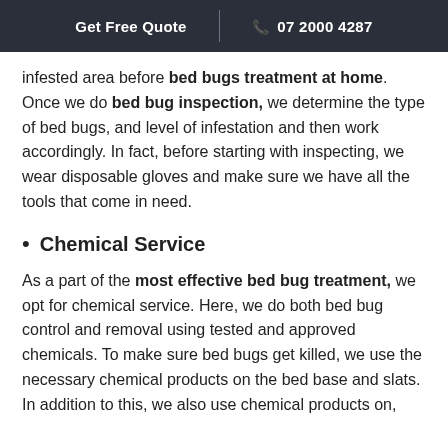Get Free Quote  |  07 2000 4287
infested area before bed bugs treatment at home. Once we do bed bug inspection, we determine the type of bed bugs, and level of infestation and then work accordingly. In fact, before starting with inspecting, we wear disposable gloves and make sure we have all the tools that come in need.
Chemical Service
As a part of the most effective bed bug treatment, we opt for chemical service. Here, we do both bed bug control and removal using tested and approved chemicals. To make sure bed bugs get killed, we use the necessary chemical products on the bed base and slats. In addition to this, we also use chemical products on,